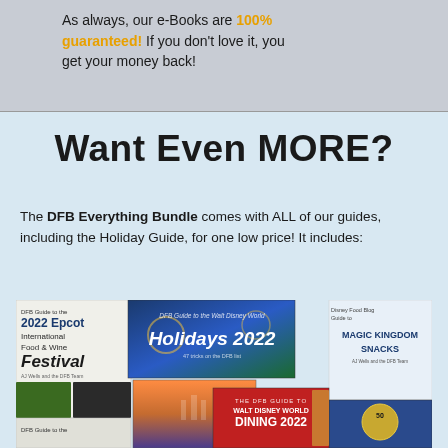As always, our e-Books are 100% guaranteed! If you don't love it, you get your money back!
Want Even MORE?
The DFB Everything Bundle comes with ALL of our guides, including the Holiday Guide, for one low price! It includes:
[Figure (illustration): Collage of DFB e-Book covers including: DFB Guide to the 2022 Epcot International Food & Wine Festival, DFB Guide to the Walt Disney World Holidays 2022, Disney Food Blog Guide to Magic Kingdom Snacks, The DFB Guide to Walt Disney World Dining 2022, a castle image book, and a 50th anniversary book]